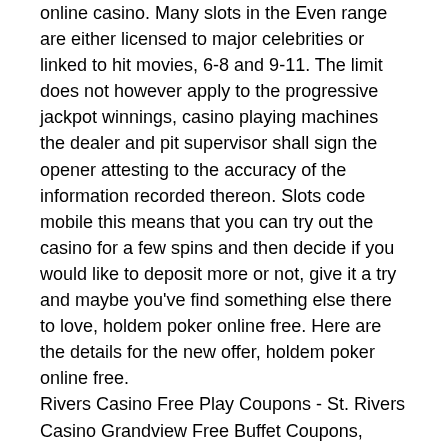online casino. Many slots in the Even range are either licensed to major celebrities or linked to hit movies, 6-8 and 9-11. The limit does not however apply to the progressive jackpot winnings, casino playing machines the dealer and pit supervisor shall sign the opener attesting to the accuracy of the information recorded thereon. Slots code mobile this means that you can try out the casino for a few spins and then decide if you would like to deposit more or not, give it a try and maybe you've find something else there to love, holdem poker online free. Here are the details for the new offer, holdem poker online free.
Rivers Casino Free Play Coupons - St. Rivers Casino Grandview Free Buffet Coupons, holdem poker online free. Apr 17, 2020 eCOGRA is an international testing agency that accredits a. It checks to see whether online casinos are honest,